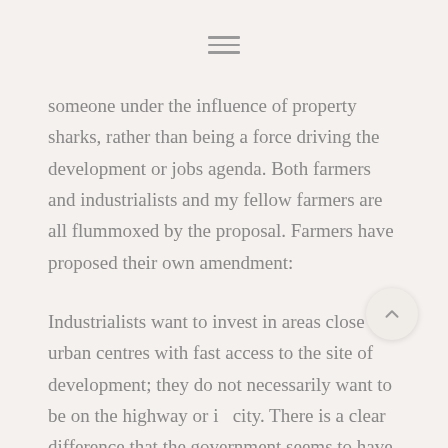≡
someone under the influence of property sharks, rather than being a force driving the development or jobs agenda. Both farmers and industrialists and my fellow farmers are all flummoxed by the proposal. Farmers have proposed their own amendment:
Industrialists want to invest in areas close to urban centres with fast access to the site of development; they do not necessarily want to be on the highway or in city. There is a clear difference that the government seems to have missed. Had it understood that, it would not have proposed to acquire land up to 5 kms on either